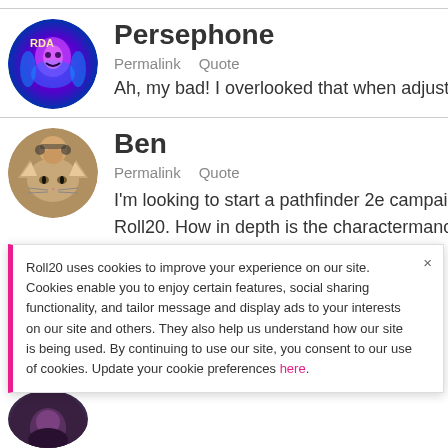[Figure (photo): Persephone avatar - purple fantasy character]
Persephone
Permalink   Quote
Ah, my bad! I overlooked that when adjusting a
[Figure (photo): Ben avatar - person with cat]
Ben
Permalink   Quote
I'm looking to start a pathfinder 2e campaign ar Roll20. How in depth is the charactermancer/dr
Roll20 uses cookies to improve your experience on our site. Cookies enable you to enjoy certain features, social sharing functionality, and tailor message and display ads to your interests on our site and others. They also help us understand how our site is being used. By continuing to use our site, you consent to our use of cookies. Update your cookie preferences here.